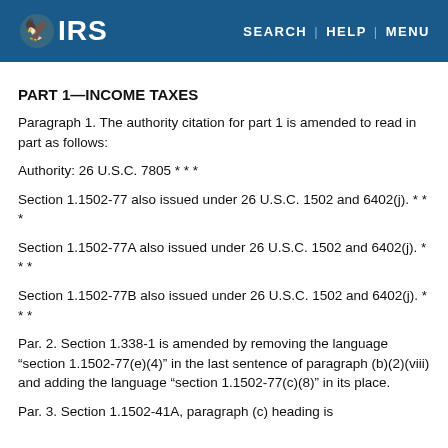IRS — SEARCH | HELP | MENU
PART 1—INCOME TAXES
Paragraph 1. The authority citation for part 1 is amended to read in part as follows:
Authority: 26 U.S.C. 7805 * * *
Section 1.1502-77 also issued under 26 U.S.C. 1502 and 6402(j). * * *
Section 1.1502-77A also issued under 26 U.S.C. 1502 and 6402(j). * * *
Section 1.1502-77B also issued under 26 U.S.C. 1502 and 6402(j). * * *
Par. 2. Section 1.338-1 is amended by removing the language “section 1.1502-77(e)(4)” in the last sentence of paragraph (b)(2)(viii) and adding the language “section 1.1502-77(c)(8)” in its place.
Par. 3. Section 1.1502-41A, paragraph (c) heading is